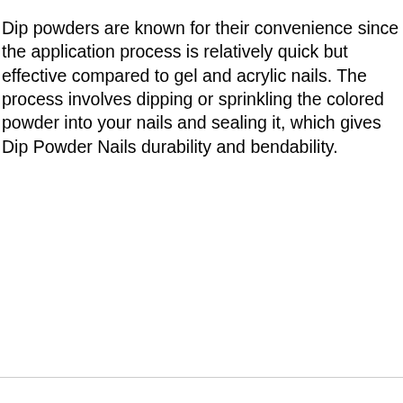Dip powders are known for their convenience since the application process is relatively quick but effective compared to gel and acrylic nails. The process involves dipping or sprinkling the colored powder into your nails and sealing it, which gives Dip Powder Nails durability and bendability.